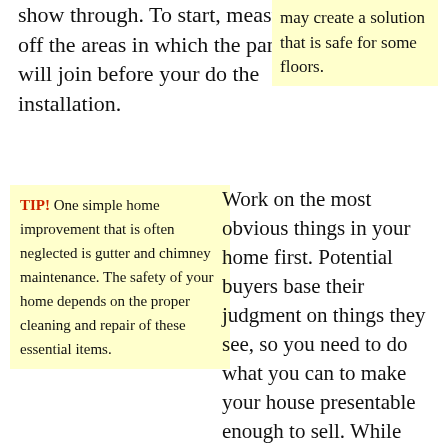show through. To start, measure off the areas in which the panels will join before your do the installation.
may create a solution that is safe for some floors.
TIP! One simple home improvement that is often neglected is gutter and chimney maintenance. The safety of your home depends on the proper cleaning and repair of these essential items.
Work on the most obvious things in your home first. Potential buyers base their judgment on things they see, so you need to do what you can to make your house presentable enough to sell. While many important improvements aren't visible, it is imperative you focus on projects that are